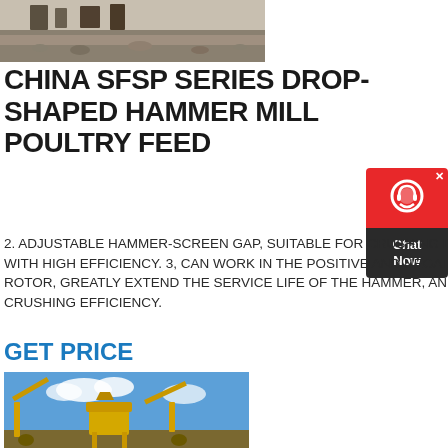[Figure (photo): Industrial site with machinery and gravel/aggregate, top photo]
CHINA SFSP SERIES DROP-SHAPED HAMMER MILL POULTRY FEED
2. ADJUSTABLE HAMMER-SCREEN GAP, SUITABLE FOR CRUSHING DIFFERENT MATERIALS WITH HIGH EFFICIENCY. 3, CAN WORK IN THE POSITIVE AND NEGATIVE DIRECTION OF THE ROTOR, GREATLY EXTEND THE SERVICE LIFE OF THE HAMMER, AND IMPROVE THE CRUSHING EFFICIENCY.
GET PRICE
[Figure (photo): Yellow industrial crushing/mining equipment against blue sky with clouds]